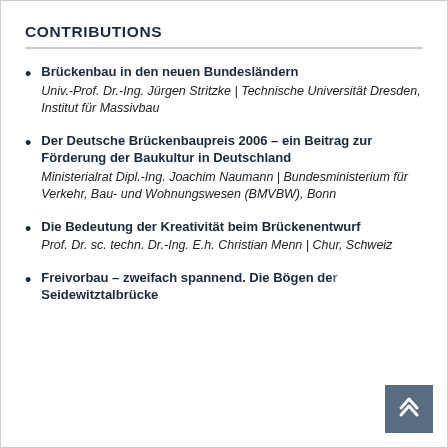CONTRIBUTIONS
Brückenbau in den neuen Bundesländern
Univ.-Prof. Dr.-Ing. Jürgen Stritzke | Technische Universität Dresden, Institut für Massivbau
Der Deutsche Brückenbaupreis 2006 – ein Beitrag zur Förderung der Baukultur in Deutschland
Ministerialrat Dipl.-Ing. Joachim Naumann | Bundesministerium für Verkehr, Bau- und Wohnungswesen (BMVBW), Bonn
Die Bedeutung der Kreativität beim Brückenentwurf
Prof. Dr. sc. techn. Dr.-Ing. E.h. Christian Menn | Chur, Schweiz
Freivorbau – zweifach spannend. Die Bögen der Seidewitztalbrücke